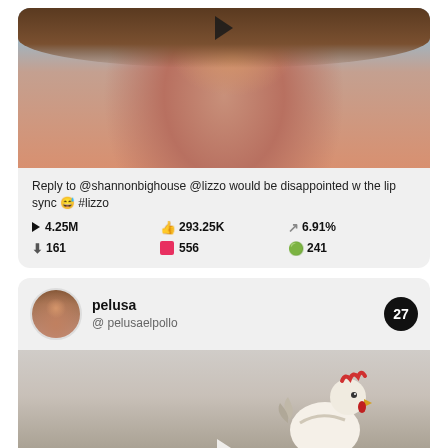[Figure (screenshot): TikTok video thumbnail showing a woman's face close-up with a play button overlay]
Reply to @shannonbighouse @lizzo would be disappointed w the lip sync 😅 #lizzo
| ▶ 4.25M | 👍293.25K | ↗6.91% |
| ⬇161 | 💬556 | ✅241 |
[Figure (screenshot): TikTok profile card for user 'pelusa' (@pelusaelpollo) with badge showing 27, and a video thumbnail of a rooster/chicken]